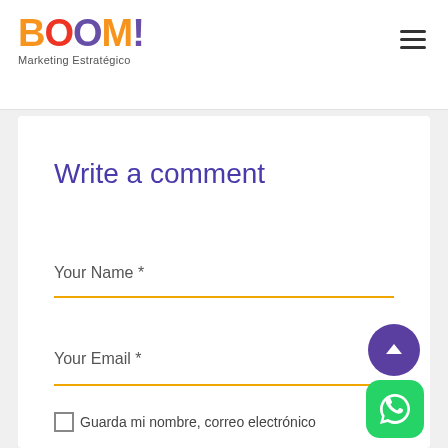[Figure (logo): BOOM! Marketing Estratégico logo with colorful letters and subtitle]
Write a comment
Your Name *
Your Email *
Guarda mi nombre, correo electrónico